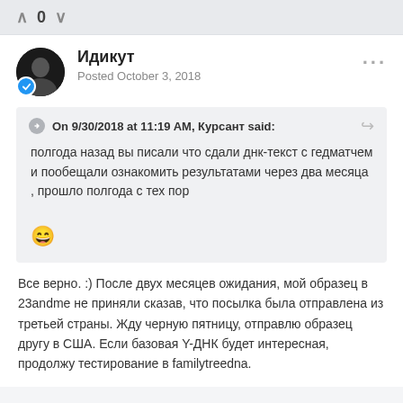^ 0 v
Идикут
Posted October 3, 2018
On 9/30/2018 at 11:19 AM, Курсант said:
полгода назад вы писали что сдали днк-текст с гедматчем и пообещали ознакомить результатами через два месяца , прошло полгода с тех пор 😄
Все верно. :) После двух месяцев ожидания, мой образец в 23andme не приняли сказав, что посылка была отправлена из третьей страны. Жду черную пятницу, отправлю образец другу в США. Если базовая Y-ДНК будет интересная, продолжу тестирование в familytreedna.